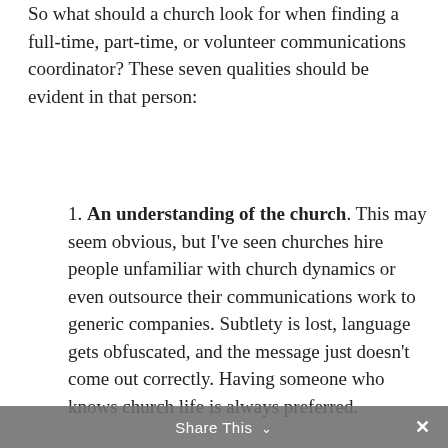So what should a church look for when finding a full-time, part-time, or volunteer communications coordinator? These seven qualities should be evident in that person:
1. An understanding of the church. This may seem obvious, but I've seen churches hire people unfamiliar with church dynamics or even outsource their communications work to generic companies. Subtlety is lost, language gets obfuscated, and the message just doesn't come out correctly. Having someone who knows church life is always preferred.
Share This ∨  ×